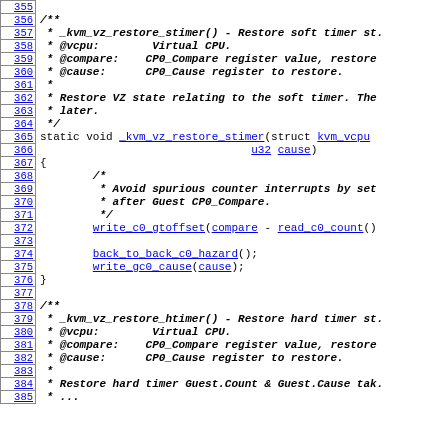[Figure (screenshot): Source code viewer showing C kernel code for _kvm_vz_restore_stimer() and _kvm_vz_restore_htimer() functions, with line numbers 355-385 displayed in a monospace font with hyperlinked identifiers.]